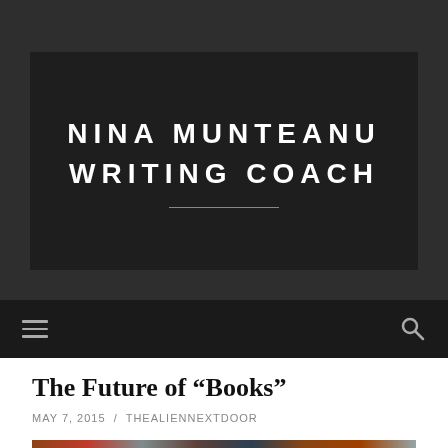NINA MUNTEANU
WRITING COACH
The Future of “Books”
MAY 7, 2015 / THEALIENNEXTDOOR
[Figure (photo): Partial photo strip visible at bottom of page]